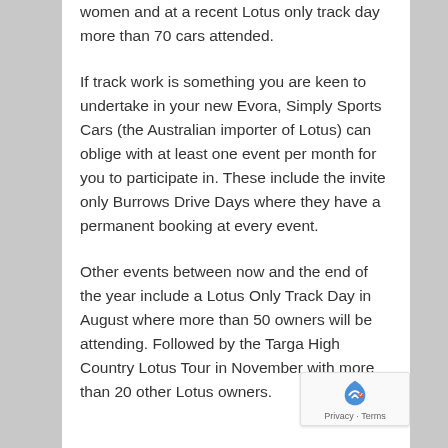women and at a recent Lotus only track day more than 70 cars attended.
If track work is something you are keen to undertake in your new Evora, Simply Sports Cars (the Australian importer of Lotus) can oblige with at least one event per month for you to participate in. These include the invite only Burrows Drive Days where they have a permanent booking at every event.
Other events between now and the end of the year include a Lotus Only Track Day in August where more than 50 owners will be attending. Followed by the Targa High Country Lotus Tour in November with more than 20 other Lotus owners.